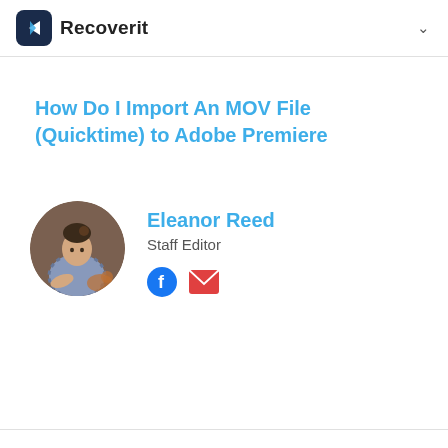Recoverit
How Do I Import An MOV File (Quicktime) to Adobe Premiere
[Figure (photo): Circular portrait photo of Eleanor Reed, a woman with dark hair in a bun, wearing a striped shirt, writing/working at a desk]
Eleanor Reed
Staff Editor